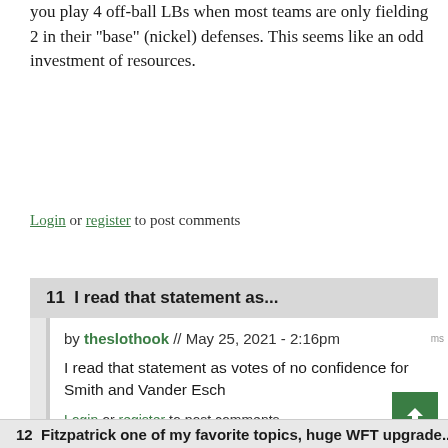you play 4 off-ball LBs when most teams are only fielding 2 in their "base" (nickel) defenses. This seems like an odd investment of resources.
Login or register to post comments
11  I read that statement as...
by theslothook // May 25, 2021 - 2:16pm
I read that statement as votes of no confidence for Smith and Vander Esch
Login or register to post comments
12  Fitzpatrick one of my favorite topics, huge WFT upgrade...